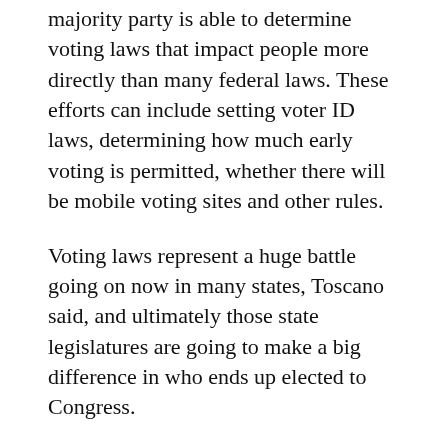majority party is able to determine voting laws that impact people more directly than many federal laws. These efforts can include setting voter ID laws, determining how much early voting is permitted, whether there will be mobile voting sites and other rules.
Voting laws represent a huge battle going on now in many states, Toscano said, and ultimately those state legislatures are going to make a big difference in who ends up elected to Congress.
“Fighting Political Gridlock” also considers changes to the electorate’s perspective, which Toscano argues is now more politicized and aligned more with a particular party than any individual. This is at least partially tied to the decline of local news media, he said, which has led to consumers turning to larger national media outlets for information.